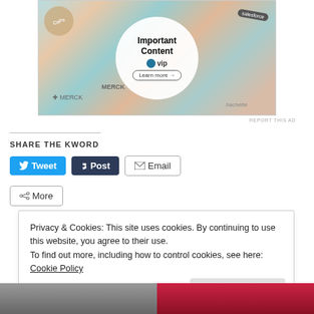[Figure (photo): Advertisement image showing colorful tiles/cards with brand logos including Merck, Salesforce, WP VIP. A white circle in center reads 'Important Content' with WP VIP logo and 'Learn more' button.]
REPORT THIS AD
SHARE THE KWORD
Tweet   Post   Email   More
Privacy & Cookies: This site uses cookies. By continuing to use this website, you agree to their use.
To find out more, including how to control cookies, see here: Cookie Policy
Close and accept
[Figure (photo): Bottom strip showing two partial thumbnail images]